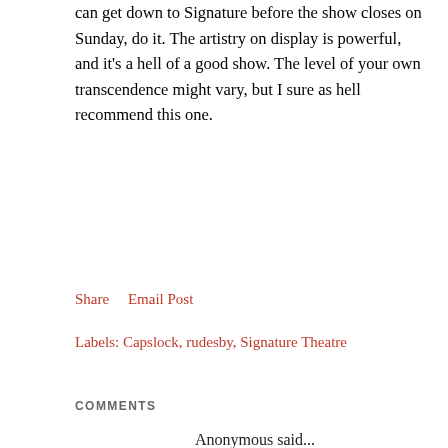can get down to Signature before the show closes on Sunday, do it. The artistry on display is powerful, and it's a hell of a good show. The level of your own transcendence might vary, but I sure as hell recommend this one.
Share    Email Post
Labels: Capslock, rudesby, Signature Theatre
COMMENTS
Anonymous said...
This blogpost is so truthful. this is the most exhilarating show I have ever seen at Signature. I have seen all the the main performers before with the exception of Jarvis and the form these performers are in and how they deliver this piece of theater...no wait, OPERA, is astonishingly effecting. Run to the theatre